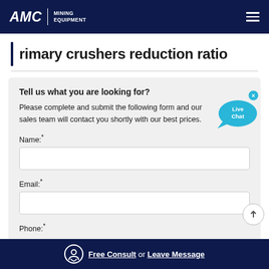AMC | MINING EQUIPMENT
rimary crushers reduction ratio
Tell us what you are looking for?
Please complete and submit the following form and our sales team will contact you shortly with our best prices.
Name:*
Email:*
Phone:*
Free Consult or Leave Message